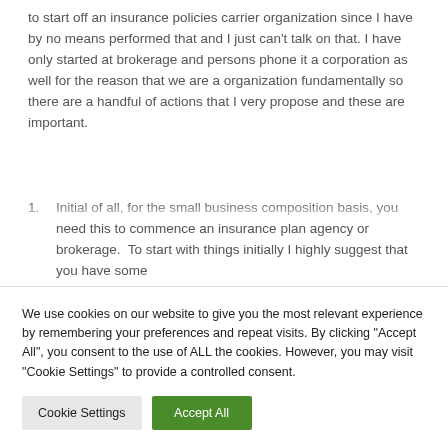to start off an insurance policies carrier organization since I have by no means performed that and I just can't talk on that. I have only started at brokerage and persons phone it a corporation as well for the reason that we are a organization fundamentally so there are a handful of actions that I very propose and these are important.
Initial of all, for the small business composition basis, you need this to commence an insurance plan agency or brokerage.  To start with things initially I highly suggest that you have some
We use cookies on our website to give you the most relevant experience by remembering your preferences and repeat visits. By clicking "Accept All", you consent to the use of ALL the cookies. However, you may visit "Cookie Settings" to provide a controlled consent.